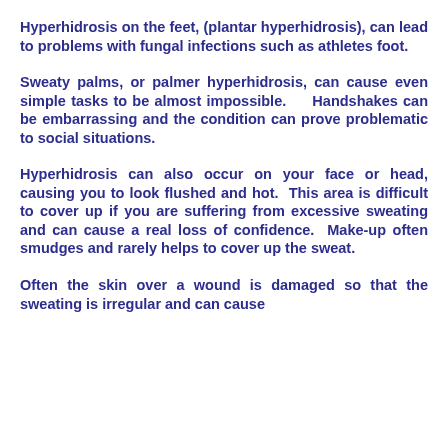Hyperhidrosis on the feet, (plantar hyperhidrosis), can lead to problems with fungal infections such as athletes foot.
Sweaty palms, or palmer hyperhidrosis, can cause even simple tasks to be almost impossible. Handshakes can be embarrassing and the condition can prove problematic to social situations.
Hyperhidrosis can also occur on your face or head, causing you to look flushed and hot. This area is difficult to cover up if you are suffering from excessive sweating and can cause a real loss of confidence. Make-up often smudges and rarely helps to cover up the sweat.
Often the skin over a wound is damaged so that the sweating is irregular and can cause